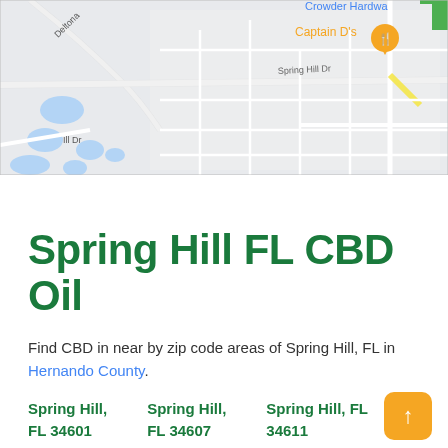[Figure (map): Google Maps screenshot showing Spring Hill, FL area with streets including Deltona, Spring Hill Dr, Linden Dr, Ill Dr. Shows a location pin for 'Captain D's' restaurant in orange, and 'Crowder Hardwa' business label in blue. Map has light gray background with blue water features and white road network.]
Spring Hill FL CBD Oil
Find CBD in near by zip code areas of Spring Hill, FL in Hernando County.
Spring Hill, FL 34601
Spring Hill, FL 34607
Spring Hill, FL 34611